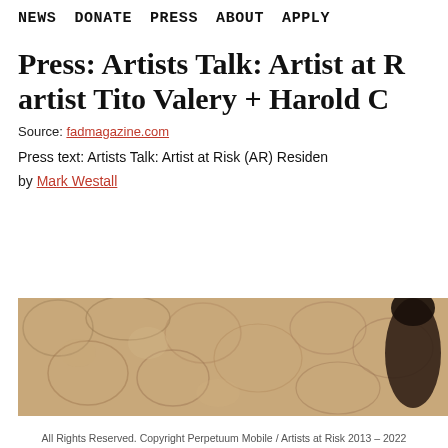NEWS   DONATE   PRESS   ABOUT   APPLY
Press: Artists Talk: Artist at R... artist Tito Valery + Harold C...
Source: fadmagazine.com
Press text: Artists Talk: Artist at Risk (AR) Residen...
by Mark Westall
[Figure (photo): A photo showing a person with a dark head covering against a textured stone or organic background in warm brown and tan tones.]
All Rights Reserved. Copyright Perpetuum Mobile / Artists at Risk 2013 – 2022